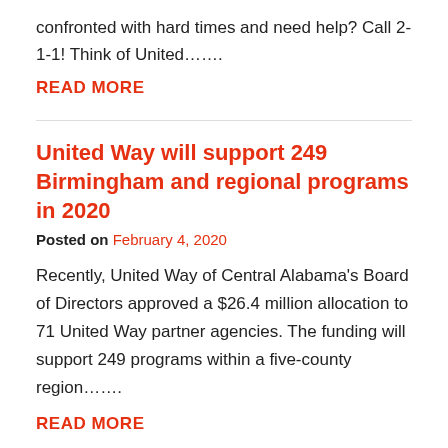confronted with hard times and need help? Call 2-1-1! Think of United…….
READ MORE
United Way will support 249 Birmingham and regional programs in 2020
Posted on February 4, 2020
Recently, United Way of Central Alabama's Board of Directors approved a $26.4 million allocation to 71 United Way partner agencies. The funding will support 249 programs within a five-county region…….
READ MORE